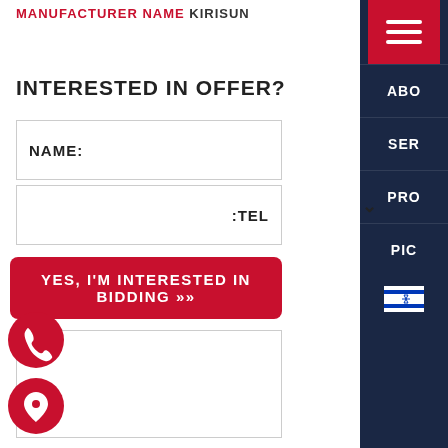MANUFACTURER NAME KIRISUN
INTERESTED IN OFFER?
NAME:
TEL:
YES, I'M INTERESTED IN BIDDING »»
[Figure (screenshot): Navigation sidebar with hamburger menu (red), and links: ABO, SER, PRO, PIC, and an Israeli flag language toggle on a dark navy background]
[Figure (illustration): Red circular phone icon (FAB button) floating bottom left]
[Figure (illustration): Red circular location pin icon (FAB button) floating bottom left below phone icon]